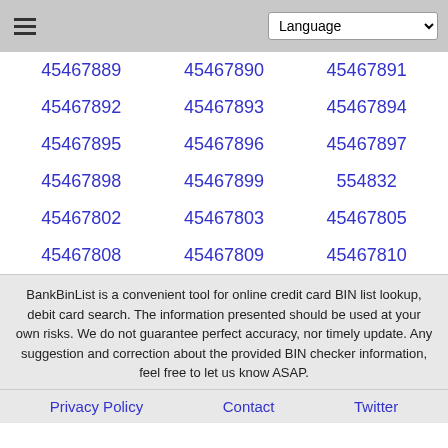Language
45467889
45467890
45467891
45467892
45467893
45467894
45467895
45467896
45467897
45467898
45467899
554832
45467802
45467803
45467805
45467808
45467809
45467810
BankBinList is a convenient tool for online credit card BIN list lookup, debit card search. The information presented should be used at your own risks. We do not guarantee perfect accuracy, nor timely update. Any suggestion and correction about the provided BIN checker information, feel free to let us know ASAP.
Privacy Policy  Contact  Twitter